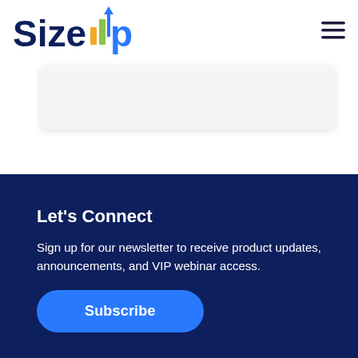SizeUp
[Figure (logo): SizeUp logo with stylized bar chart and arrow icon in blue, green, and yellow]
[Figure (other): Hamburger menu icon (three horizontal lines) in dark navy]
[Figure (other): Light gray rounded card/panel area]
Let's Connect
Sign up for our newsletter to receive product updates, announcements, and VIP webinar access.
[Figure (other): Blue rounded Subscribe button]
Subscribe